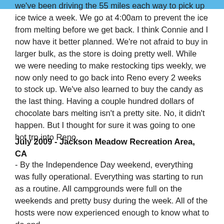we've been driving the 55 miles each way to pick up ice twice a week. We go at 4:00am to prevent the ice from melting before we get back. I think Connie and I now have it better planned. We're not afraid to buy in larger bulk, as the store is doing pretty well. While we were needing to make restocking tips weekly, we now only need to go back into Reno every 2 weeks to stock up. We've also learned to buy the candy as the last thing. Having a couple hundred dollars of chocolate bars melting isn't a pretty site. No, it didn't happen. But I thought for sure it was going to one hot trp into Reno.
July 2009 - Jackson Meadow Recreation Area, CA
- By the Independence Day weekend, everything was fully operational. Everything was starting to run as a routine. All campgrounds were full on the weekends and pretty busy during the week. All of the hosts were now experienced enough to know what to do and